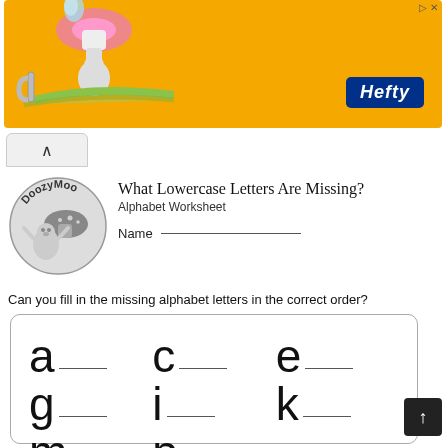[Figure (illustration): Orange advertisement banner for Hefty brand with cartoon mushroom/character on left and blue Hefty logo on right]
What Lowercase Letters Are Missing?
Alphabet Worksheet
Name ___________________________
Can you fill in the missing alphabet letters in the correct order?
[Figure (illustration): Worksheet box with lowercase letters a, c, e, g, i, k, m, p each followed by a blank line for student to fill in missing letters]